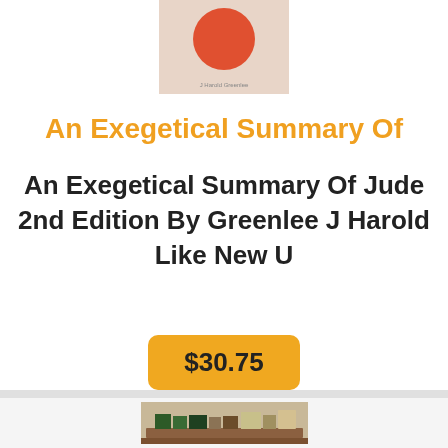[Figure (photo): Book cover for An Exegetical Summary of Jude, showing a reddish-orange circle on a beige/tan background with author name J Harold Greenlee at bottom]
An Exegetical Summary Of
An Exegetical Summary Of Jude 2nd Edition By Greenlee J Harold Like New U
$30.75
[Figure (photo): Photograph of books stacked on a wooden table]